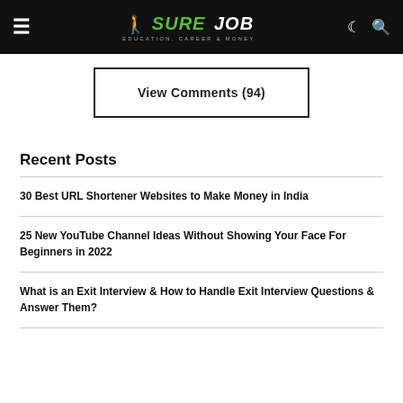SureJob — Education, Career & Money
View Comments (94)
Recent Posts
30 Best URL Shortener Websites to Make Money in India
25 New YouTube Channel Ideas Without Showing Your Face For Beginners in 2022
What is an Exit Interview & How to Handle Exit Interview Questions & Answer Them?